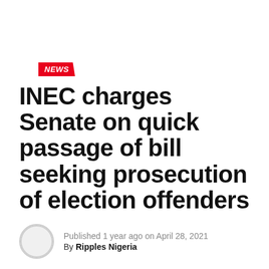NEWS
INEC charges Senate on quick passage of bill seeking prosecution of election offenders
Published 1 year ago on April 28, 2021
By Ripples Nigeria